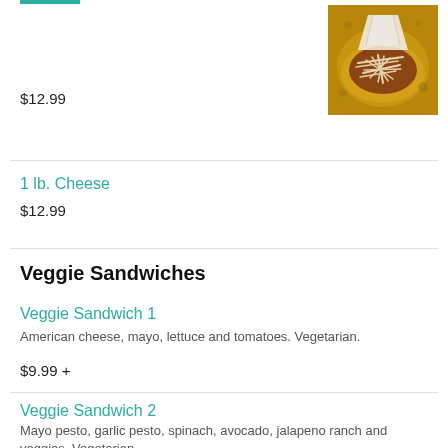[Figure (photo): Photo of a food item, appears to be a bowl with shredded toppings on a baked dish, viewed from above]
$12.99
1 lb. Cheese
$12.99
Veggie Sandwiches
Veggie Sandwich 1
American cheese, mayo, lettuce and tomatoes. Vegetarian.
$9.99 +
Veggie Sandwich 2
Mayo pesto, garlic pesto, spinach, avocado, jalapeno ranch and veggies. Vegetarian.
$9.99 +